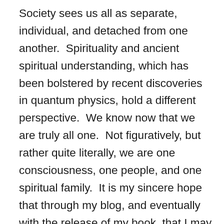Society sees us all as separate, individual, and detached from one another.  Spirituality and ancient spiritual understanding, which has been bolstered by recent discoveries in quantum physics, hold a different perspective.  We know now that we are truly all one.  Not figuratively, but rather quite literally, we are one consciousness, one people, and one spiritual family.  It is my sincere hope that through my blog, and eventually with the release of my book, that I may imbue you the reader, with that same sense of wonder and curiosity that sparked my imagination all those years ago as a child, and may cultivate a desire within yourself to always explore, always discover, always to love life, and to care for yourself, for others, and for the Earth with the same sense of awe, gratitude, reverence and respect that life has for itself and reveals to us everyday in the way that the Earth nurtures